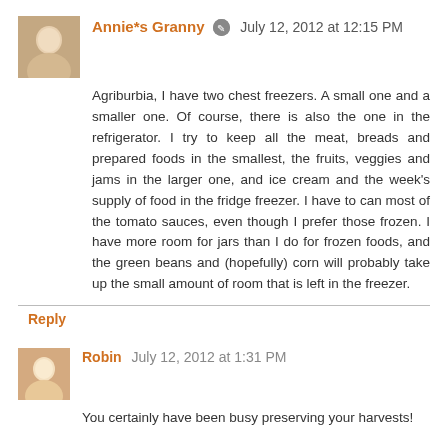Annie*s Granny  July 12, 2012 at 12:15 PM
Agriburbia, I have two chest freezers. A small one and a smaller one. Of course, there is also the one in the refrigerator. I try to keep all the meat, breads and prepared foods in the smallest, the fruits, veggies and jams in the larger one, and ice cream and the week's supply of food in the fridge freezer. I have to can most of the tomato sauces, even though I prefer those frozen. I have more room for jars than I do for frozen foods, and the green beans and (hopefully) corn will probably take up the small amount of room that is left in the freezer.
Reply
Robin  July 12, 2012 at 1:31 PM
You certainly have been busy preserving your harvests!